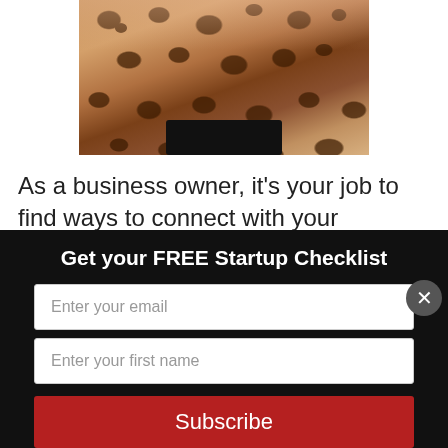[Figure (photo): A woman wearing a leopard print top with a black belt, arms on hips, cropped to show torso]
As a business owner, it's your job to find ways to connect with your customers. We live in a mobile world where 73% of people have their phone on them at all times. If you are targeting Millennials, that number goes up to 87%! Are you doing enough to connect with your audience on the small
Get your FREE Startup Checklist
Enter your email
Enter your first name
Subscribe